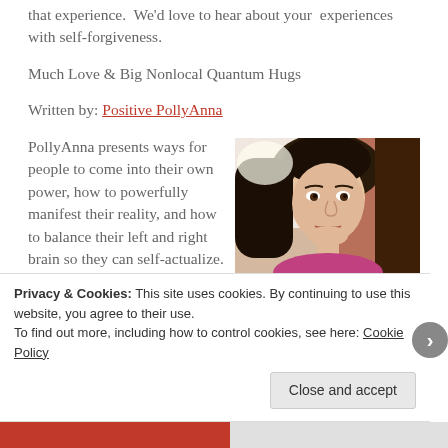that experience.  We'd love to hear about your  experiences with self-forgiveness.
Much Love & Big Nonlocal Quantum Hugs
Written by: Positive PollyAnna
PollyAnna presents ways for people to come into their own power, how to powerfully manifest their reality, and how to balance their left and right brain so they can self-actualize.
[Figure (photo): Photo of a young woman with dark hair, smiling, wearing a pink top, indoor background]
Privacy & Cookies: This site uses cookies. By continuing to use this website, you agree to their use.
To find out more, including how to control cookies, see here: Cookie Policy
Close and accept